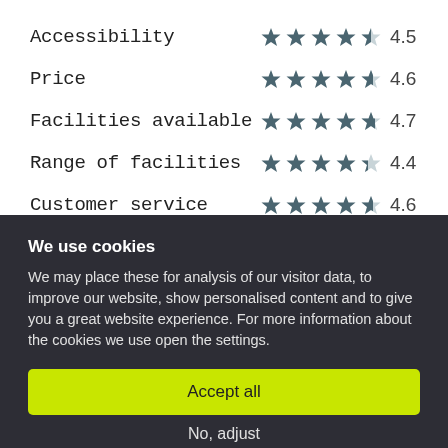Accessibility  4.5
Price  4.6
Facilities available  4.7
Range of facilities  4.4
Customer service  4.6
We use cookies
We may place these for analysis of our visitor data, to improve our website, show personalised content and to give you a great website experience. For more information about the cookies we use open the settings.
Accept all
No, adjust